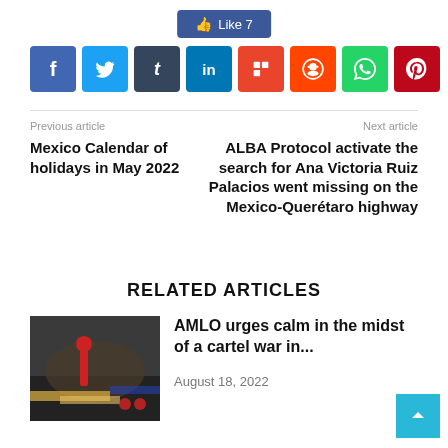[Figure (other): Facebook Like button showing 'Like 7' in blue]
[Figure (other): Row of 8 social media share icons: Facebook, Twitter, Tumblr, LinkedIn, Mix, Reddit, WhatsApp, Pinterest]
Previous article
Next article
Mexico Calendar of holidays in May 2022
ALBA Protocol activate the search for Ana Victoria Ruiz Palacios went missing on the Mexico-Querétaro highway
RELATED ARTICLES
[Figure (photo): Night street scene photo with blurred lights and vehicles]
AMLO urges calm in the midst of a cartel war in...
August 18, 2022